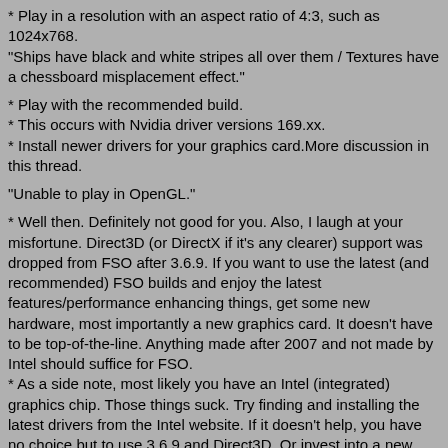* Play in a resolution with an aspect ratio of 4:3, such as 1024x768.
"Ships have black and white stripes all over them / Textures have a chessboard misplacement effect."
* Play with the recommended build.
* This occurs with Nvidia driver versions 169.xx.
* Install newer drivers for your graphics card.More discussion in this thread.
"Unable to play in OpenGL."
* Well then. Definitely not good for you. Also, I laugh at your misfortune. DirectX3D (or DirectX if it's any clearer) support was dropped from FSO after 3.6.9. If you want to use the latest (and recommended) FSO builds and enjoy the latest features/performance enhancing things, get some new hardware, most importantly a new graphics card. It doesn't have to be top-of-the-line. Anything made after 2007 and not made by Intel should suffice for FSO.
* As a side note, most likely you have an Intel (integrated) graphics chip. Those things suck. Try finding and installing the latest drivers from the Intel website. If it doesn't help, you have no choice but to use 3.6.9 and Direct3D. Or invest into a new graphics card/computer and be a man.